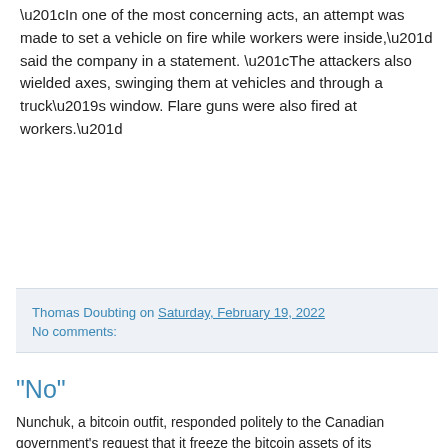“In one of the most concerning acts, an attempt was made to set a vehicle on fire while workers were inside,” said the company in a statement. “The attackers also wielded axes, swinging them at vehicles and through a truck’s window. Flare guns were also fired at workers.”
Thomas Doubting on Saturday, February 19, 2022
No comments:
"No"
Nunchuk, a bitcoin outfit, responded politely to the Canadian government's request that it freeze the bitcoin assets of its customers:
Our software is free to use. It allows people to eliminate single points of failures and store bitcoin in the safest way possible.